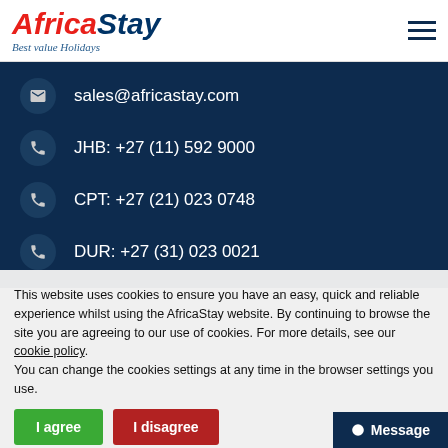[Figure (logo): AfricaStay logo with red 'Africa' and dark blue 'Stay' italic text, tagline 'Best value Holidays']
sales@africastay.com
JHB: +27 (11) 592 9000
CPT: +27 (21) 023 0748
DUR: +27 (31) 023 0021
This website uses cookies to ensure you have an easy, quick and reliable experience whilst using the AfricaStay website. By continuing to browse the site you are agreeing to our use of cookies. For more details, see our cookie policy. You can change the cookies settings at any time in the browser settings you use.
I agree
I disagree